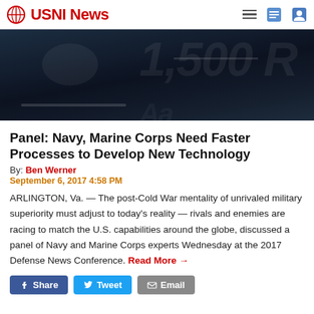USNI News
[Figure (photo): Dark nighttime photograph of a military vessel or aircraft, with dim blue-black tones]
Panel: Navy, Marine Corps Need Faster Processes to Develop New Technology
By: Ben Werner
September 6, 2017 4:58 PM
ARLINGTON, Va. — The post-Cold War mentality of unrivaled military superiority must adjust to today's reality — rivals and enemies are racing to match the U.S. capabilities around the globe, discussed a panel of Navy and Marine Corps experts Wednesday at the 2017 Defense News Conference. Read More →